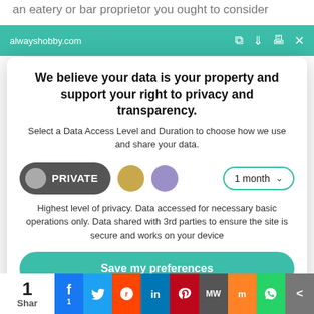an eatery or bar proprietor you ought to consider
alwayshobby.com
We believe your data is your property and support your right to privacy and transparency.
Select a Data Access Level and Duration to choose how we use and share your data.
PRIVATE  [gold dot]  [purple dot]  1 month ▾
Highest level of privacy. Data accessed for necessary basic operations only. Data shared with 3rd parties to ensure the site is secure and works on your device
Save my preferences
1 Share  [Facebook] [Twitter] [Reddit] [LinkedIn] [Pinterest] [MW] [Mix] [WhatsApp] [Share]